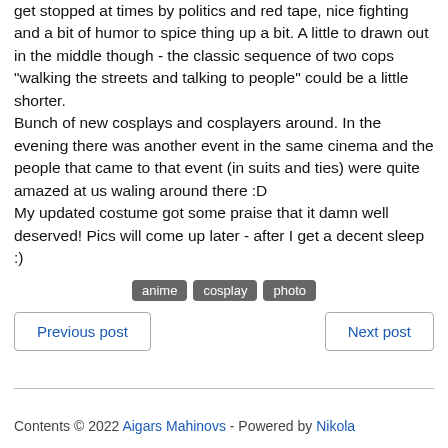get stopped at times by politics and red tape, nice fighting and a bit of humor to spice thing up a bit. A little to drawn out in the middle though - the classic sequence of two cops "walking the streets and talking to people" could be a little shorter.
Bunch of new cosplays and cosplayers around. In the evening there was another event in the same cinema and the people that came to that event (in suits and ties) were quite amazed at us waling around there :D
My updated costume got some praise that it damn well deserved! Pics will come up later - after I get a decent sleep :)
anime   cosplay   photo
Previous post
Next post
Contents © 2022 Aigars Mahinovs - Powered by Nikola